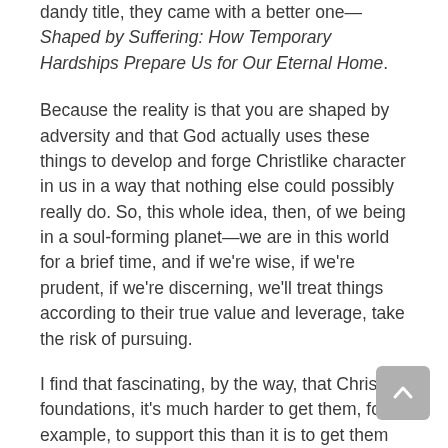dandy title, they came with a better one—Shaped by Suffering: How Temporary Hardships Prepare Us for Our Eternal Home.
Because the reality is that you are shaped by adversity and that God actually uses these things to develop and forge Christlike character in us in a way that nothing else could possibly really do. So, this whole idea, then, of we being in a soul-forming planet—we are in this world for a brief time, and if we're wise, if we're prudent, if we're discerning, we'll treat things according to their true value and leverage, take the risk of pursuing.
I find that fascinating, by the way, that Christian foundations, it's much harder to get them, for example, to support this than it is to get them